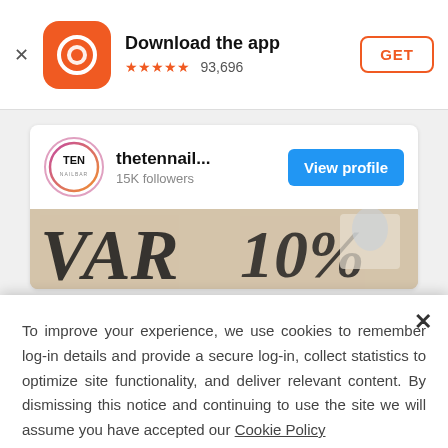[Figure (screenshot): App download banner with orange app icon showing a circular chat symbol, title 'Download the app', 5 orange stars and 93,696 reviews, and an orange-bordered 'GET' button]
Download the app
★★★★★ 93,696
[Figure (screenshot): Social media profile card for 'thetennail...' with 15K followers, a 'View profile' blue button, and a partial banner image below]
To improve your experience, we use cookies to remember log-in details and provide a secure log-in, collect statistics to optimize site functionality, and deliver relevant content. By dismissing this notice and continuing to use the site we will assume you have accepted our Cookie Policy